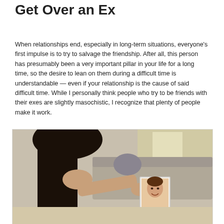Get Over an Ex
When relationships end, especially in long-term situations, everyone's first impulse is to try to salvage the friendship. After all, this person has presumably been a very important pillar in your life for a long time, so the desire to lean on them during a difficult time is understandable — even if your relationship is the cause of said difficult time. While I personally think people who try to be friends with their exes are slightly masochistic, I recognize that plenty of people make it work.
[Figure (photo): A dark-haired woman seen from behind holding up a photograph of a smiling woman, with a couch in the background.]